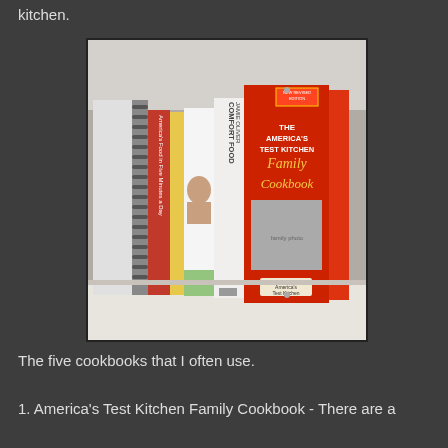kitchen.
[Figure (photo): A shelf with five cookbooks including America's Test Kitchen Family Cookbook, Jamie Oliver Comfort Food, and other cookbooks. Several spiral-bound notebooks are on the left.]
The five cookbooks that I often use.
1. America's Test Kitchen Family Cookbook - There are a